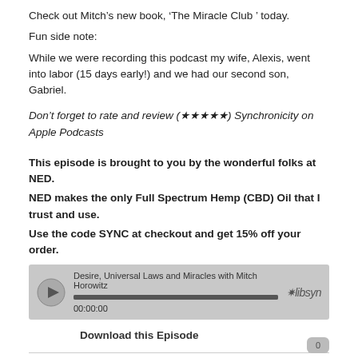Check out Mitch's new book, 'The Miracle Club ' today.
Fun side note:
While we were recording this podcast my wife, Alexis, went into labor (15 days early!) and we had our second son, Gabriel.
Don't forget to rate and review (⭐⭐⭐⭐⭐) Synchronicity on Apple Podcasts
This episode is brought to you by the wonderful folks at NED.
NED makes the only Full Spectrum Hemp (CBD) Oil that I trust and use.
Use the code SYNC at checkout and get 15% off your order.
[Figure (screenshot): Audio player widget showing 'Desire, Universal Laws and Miracles with Mitch Horowitz', timestamp 00:00:00, with libsyn branding]
Download this Episode
The Power of Cannabis with Andi Novick
Jun 19, 2019